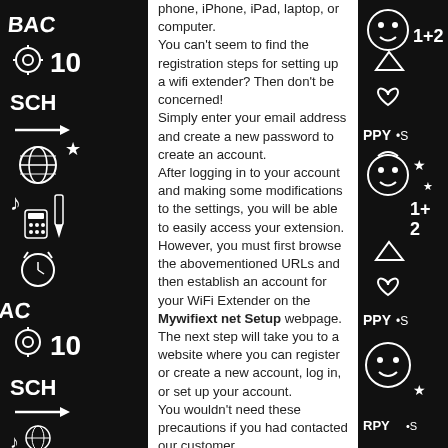[Figure (illustration): Black background doodle/illustration border on the left side with back-to-school themed drawings including pencils, globes, calculators, musical notes, and text like 'BACK', '10', 'SCH']
phone, iPhone, iPad, laptop, or computer. You can't seem to find the registration steps for setting up a wifi extender? Then don't be concerned! Simply enter your email address and create a new password to create an account. After logging in to your account and making some modifications to the settings, you will be able to easily access your extension. However, you must first browse the abovementioned URLs and then establish an account for your WiFi Extender on the Mywifiext net Setup webpage. The next step will take you to a website where you can register or create a new account, log in, or set up your account. You wouldn't need these precautions if you had contacted our customer
[Figure (illustration): Black background doodle/illustration border on the right side with back-to-school and happy themed drawings including smiley faces, math symbols, hearts, stars, and text like 'PPY', 'SCH']